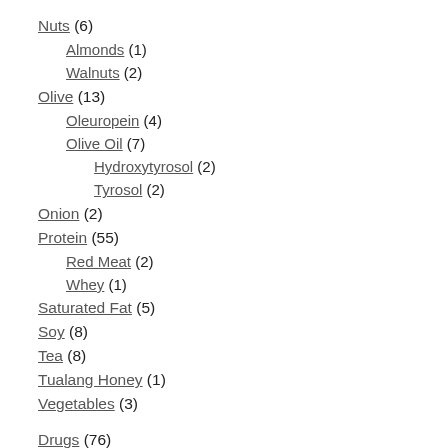Nuts (6)
Almonds (1)
Walnuts (2)
Olive (13)
Oleuropein (4)
Olive Oil (7)
Hydroxytyrosol (2)
Tyrosol (2)
Onion (2)
Protein (55)
Red Meat (2)
Whey (1)
Saturated Fat (5)
Soy (8)
Tea (8)
Tualang Honey (1)
Vegetables (3)
Drugs (76)